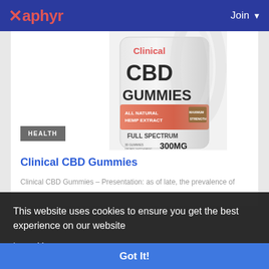Xaphyr — Join
[Figure (photo): Clinical CBD Gummies product bottle — white label showing 'Clinical CBD GUMMIES ALL NATURAL HEMP EXTRACT MAXIMUM STRENGTH FULL SPECTRUM 300MG']
HEALTH
Clinical CBD Gummies
Clinical CBD Gummies – Presentation: as of late, the prevalence of
This website uses cookies to ensure you get the best experience on our website
Learn More
Got It!